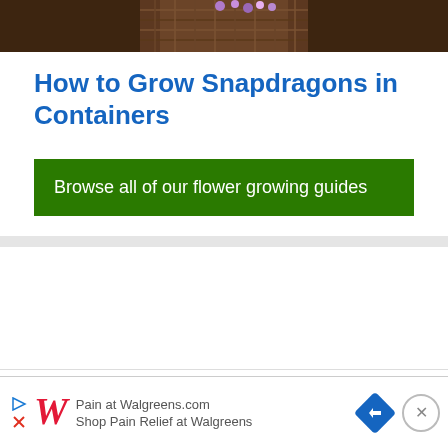[Figure (photo): Top portion of a photo showing snapdragons in a container/basket, dark brown tones with flowers visible]
How to Grow Snapdragons in Containers
Browse all of our flower growing guides
Subscribe
[Figure (infographic): Advertisement for Walgreens showing Pain at Walgreens.com and Shop Pain Relief at Walgreens text with Walgreens logo and navigation icon]